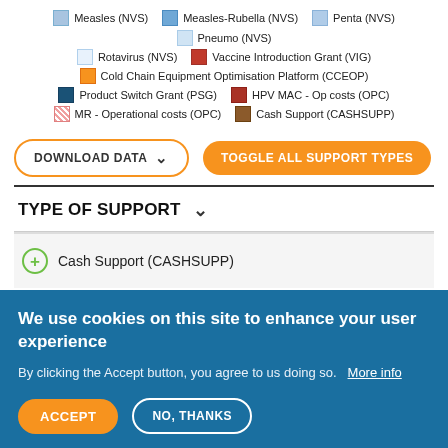[Figure (infographic): Legend showing color-coded vaccine support types: Measles (NVS), Measles-Rubella (NVS), Penta (NVS), Pneumo (NVS), Rotavirus (NVS), Vaccine Introduction Grant (VIG), Cold Chain Equipment Optimisation Platform (CCEOP), Product Switch Grant (PSG), HPV MAC - Op costs (OPC), MR - Operational costs (OPC), Cash Support (CASHSUPP)]
DOWNLOAD DATA | TOGGLE ALL SUPPORT TYPES
TYPE OF SUPPORT
Cash Support (CASHSUPP)
We use cookies on this site to enhance your user experience
By clicking the Accept button, you agree to us doing so. More info
ACCEPT | NO, THANKS